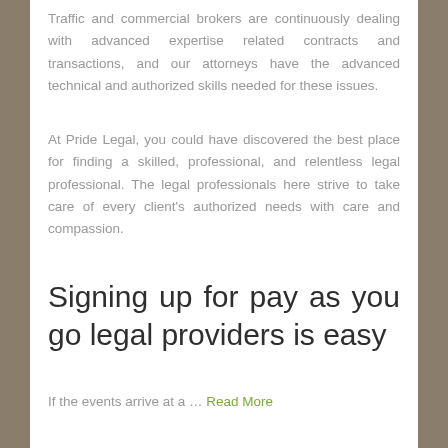Traffic and commercial brokers are continuously dealing with advanced expertise related contracts and transactions, and our attorneys have the advanced technical and authorized skills needed for these issues.
At Pride Legal, you could have discovered the best place for finding a skilled, professional, and relentless legal professional. The legal professionals here strive to take care of every client's authorized needs with care and compassion.
Signing up for pay as you go legal providers is easy
If the events arrive at a … Read More